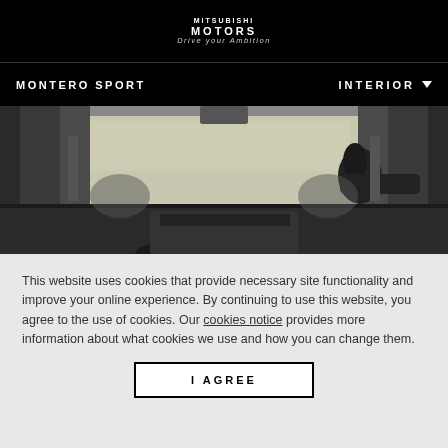MITSUBISHI MOTORS Drive your Ambition
MONTERO SPORT   INTERIOR
[Figure (photo): Interior view of Mitsubishi Montero Sport showing dashboard, windshield pillars, and steering wheel area in black and white/grayscale]
This website uses cookies that provide necessary site functionality and improve your online experience. By continuing to use this website, you agree to the use of cookies. Our cookies notice provides more information about what cookies we use and how you can change them.
I AGREE